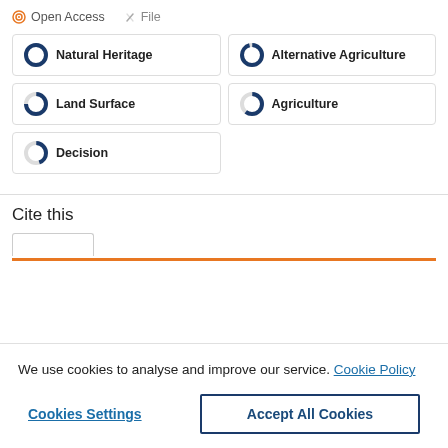Open Access   File
Natural Heritage
Alternative Agriculture
Land Surface
Agriculture
Decision
Cite this
We use cookies to analyse and improve our service. Cookie Policy
Cookies Settings
Accept All Cookies